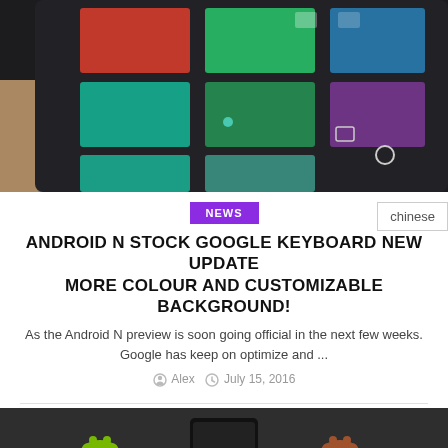[Figure (photo): Close-up photo of an Android tablet displaying a colorful grid of colored squares (red, green, teal, blue, purple) on a dark/black keyboard interface]
NEWS
ANDROID N STOCK GOOGLE KEYBOARD NEW UPDATE MORE COLOUR AND CUSTOMIZABLE BACKGROUND!
chinese
As the Android N preview is soon going official in the next few weeks. Google has keep on optimize and ...
Alex  July 15, 2016
[Figure (photo): Partial photo showing Android mascots (green and brown) with a smartphone on a dark surface]